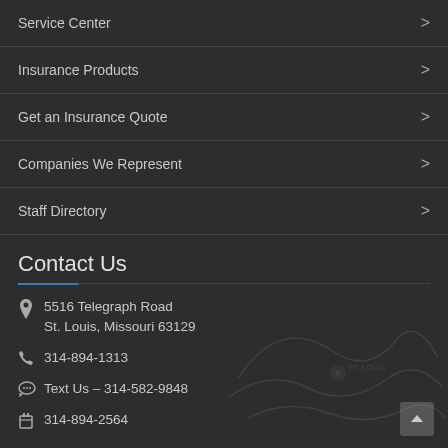Service Center
Insurance Products
Get an Insurance Quote
Companies We Represent
Staff Directory
Contact Us
5516 Telegraph Road
St. Louis, Missouri 63129
314-894-1313
Text Us – 314-582-9848
314-894-2564